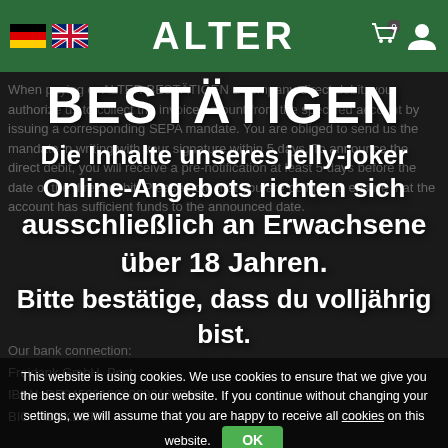ALTER BESTÄTIGEN
When paying or ALTER BESTÄTIGEN a company direct debit, you authorize us to collect the invoice amount from the specified account by issuing a corresponding SEPA mandate. You are obliged to send us the mandate in writing with your signature within 5 days. To announce the direct debit, you will receive a pre-notification at least 5 days before the date of the direct debit. Please note that you are obliged to ensure that the account has sufficient funds to the announced date.
Our bank connection:
Freidank GmbH, Post...
IBAN: DE84500100600961807691
BIC: PBNKDEFF
ALTER BESTÄTIGEN
Die Inhalte unseres jelly-joker Online-Angebots richten sich ausschließlich an Erwachsene über 18 Jahren.
Bitte bestätige, dass du volljährig bist.
This website is using cookies. We use cookies to ensure that we give you the best experience on our website. If you continue without changing your settings, we will assume that you are happy to receive all cookies on this website.